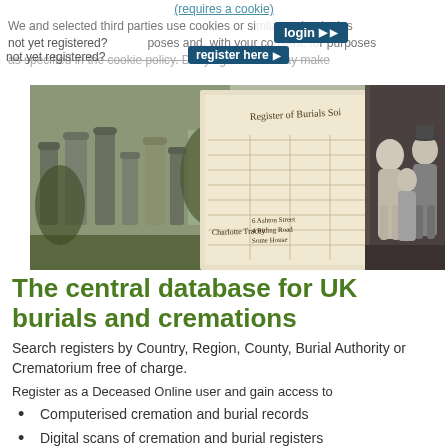(requires a cookie)
We and selected third parties use cookies or similar technologies for technical purposes and, with your consent, for other purposes as specified in the cookie policy. Denying consent may make related features unavailable. Use the Accept button to consent to the use of such technologies, or use the Reject button to continue without accepting.
[Figure (photo): Composite hero image showing a cemetery with gravestones on the left, a historical burial register document in the center, and a black-and-white family photograph on the right.]
The central database for UK burials and cremations
Search registers by Country, Region, County, Burial Authority or Crematorium free of charge.
Register as a Deceased Online user and gain access to
Computerised cremation and burial records
Digital scans of cremation and burial registers
Photographs of graves and memorials
Cemetery maps showing grave locations
Other occupants in the same grave